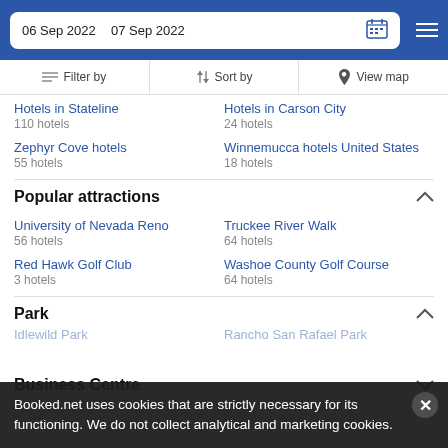06 Sep 2022  07 Sep 2022
Filter by  Sort by  View map
Hotels in Stateline
110 hotels
Hotels in Carson City
24 hotels
Zephyr Cove hotels
55 hotels
Winnemucca hotels United States
18 hotels
Popular attractions
University of Nevada Reno
56 hotels
Truckee River Walk
64 hotels
Red Hawk Golf Club
3 hotels
Washoe County Golf Course
64 hotels
Park
Idlewild Park
Rancho San Rafael Park
Business Centre
Booked.net uses cookies that are strictly necessary for its functioning. We do not collect analytical and marketing cookies.